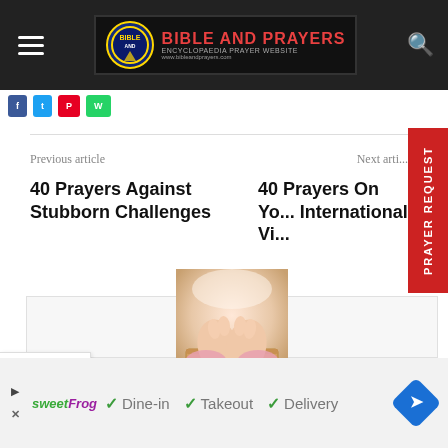BIBLE AND PRAYERS — ENCYCLOPAEDIA PRAYER WEBSITE
Previous article
Next article
40 Prayers Against Stubborn Challenges
40 Prayers On Your International Vi...
[Figure (photo): Praying hands resting on an open Bible, wearing a pink knit sweater]
PRAYER REQUEST
Dine-in  Takeout  Delivery